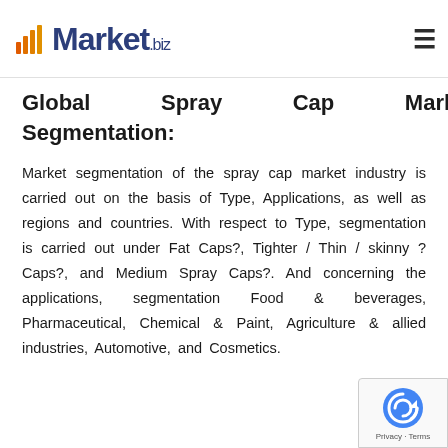Market.biz
Global Spray Cap Market Segmentation:
Market segmentation of the spray cap market industry is carried out on the basis of Type, Applications, as well as regions and countries. With respect to Type, segmentation is carried out under Fat Caps?, Tighter / Thin / skinny ?Caps?, and Medium Spray Caps?. And concerning the applications, segmentation Food & beverages, Pharmaceutical, Chemical & Paint, Agriculture & allied industries, Automotive, and Cosmetics.